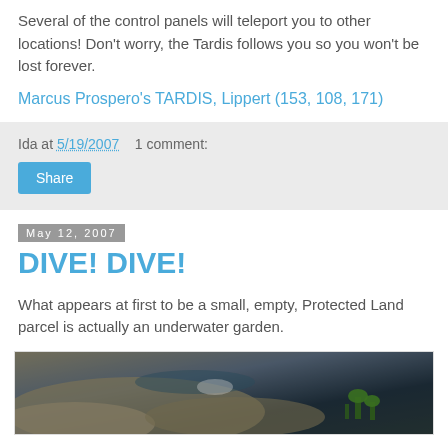Several of the control panels will teleport you to other locations! Don't worry, the Tardis follows you so you won't be lost forever.
Marcus Prospero's TARDIS, Lippert (153, 108, 171)
Ida at 5/19/2007    1 comment:
Share
May 12, 2007
DIVE! DIVE!
What appears at first to be a small, empty, Protected Land parcel is actually an underwater garden.
[Figure (photo): Aerial view of an underwater garden scene in a virtual world, showing sandy terrain and dark water with green aquatic plants.]